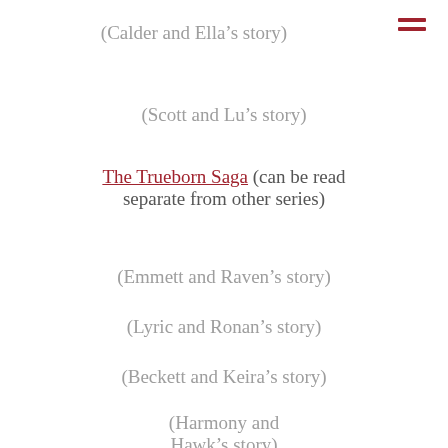(Calder and Ella’s story)
(Scott and Lu’s story)
The Trueborn Saga (can be read separate from other series)
(Emmett and Raven’s story)
(Lyric and Ronan’s story)
(Beckett and Keira’s story)
(Harmony and Hawk’s story)